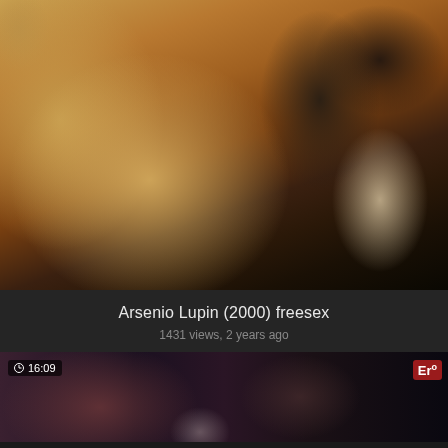[Figure (screenshot): Video thumbnail showing a woman with blonde hair looking upward, wearing a white blouse and gold jewelry, in a warmly lit indoor setting with dark wooden furniture]
Arsenio Lupin (2000) freesex
1431 views, 2 years ago
[Figure (screenshot): Video thumbnail showing two people in a dark setting, with a duration badge showing 16:09 and an 'Er' logo badge in the top right]